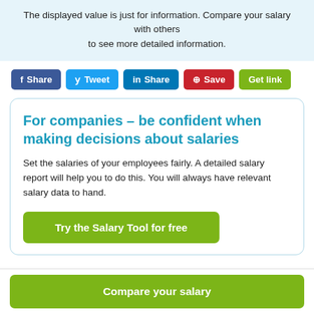The displayed value is just for information. Compare your salary with others to see more detailed information.
f Share  Tweet  in Share  Save  Get link
For companies – be confident when making decisions about salaries
Set the salaries of your employees fairly. A detailed salary report will help you to do this. You will always have relevant salary data to hand.
Try the Salary Tool for free
Compare your salary